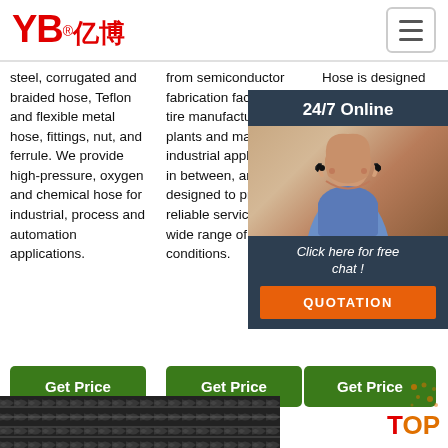YB亿博 logo and navigation
steel, corrugated and braided hose, Teflon and flexible metal hose, fittings, nut, and ferrule. We provide high-pressure, oxygen and chemical hose for industrial, process and automation applications.
from semiconductor fabrication facilities to tire manufacturing plants and many industrial applications in between, are designed to provide reliable service in a wide range of conditions.
Hose is designed for some solu abr Opa flex with spi sce tem Tem -30
[Figure (photo): Customer service representative with headset, 24/7 Online chat overlay with dark blue background, and orange QUOTATION button]
Get Price
Get Price
Get Price
[Figure (photo): TOP navigation graphic with red T and orange OP, with decorative dots]
[Figure (photo): Industrial hose product photo at bottom of page]